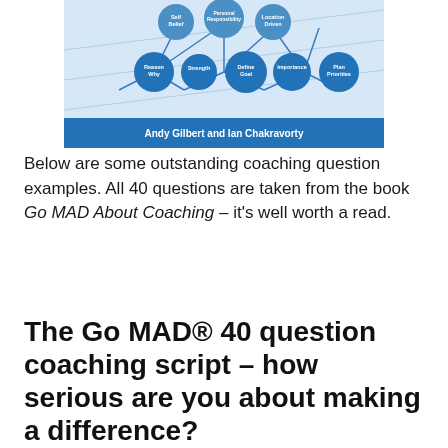[Figure (infographic): A book cover or diagram showing a network of blue circles connected with lines, labeled with coaching framework terms (Reason Why, Strength, Define Goal, Importance, Plan Priorities, Self Belief, Personal Responsibility, Location Driven). At the bottom a blue band reads 'Andy Gilbert and Ian Chakravorty'.]
Below are some outstanding coaching question examples. All 40 questions are taken from the book Go MAD About Coaching – it's well worth a read.
The Go MAD® 40 question coaching script – how serious are you about making a difference?